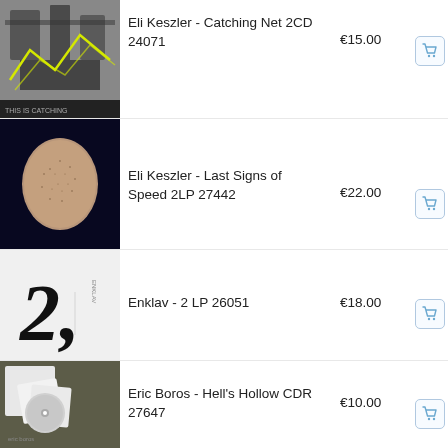[Figure (photo): Album cover for Eli Keszler - Catching Net 2CD, industrial machinery with yellow lines]
Eli Keszler - Catching Net 2CD 24071
€15.00
[Figure (photo): Album cover for Eli Keszler - Last Signs of Speed 2LP, dark blue background with beige oval texture]
Eli Keszler - Last Signs of Speed 2LP 27442
€22.00
[Figure (photo): Album cover for Enklav - 2 LP, white background with large stylized number 2]
Enklav - 2 LP 26051
€18.00
[Figure (photo): Album cover for Eric Boros - Hell's Hollow CDR, photo of white CD and booklets on pavement]
Eric Boros - Hell's Hollow CDR 27647
€10.00
[Figure (photo): Partial album cover - EVAPORI text on black background]